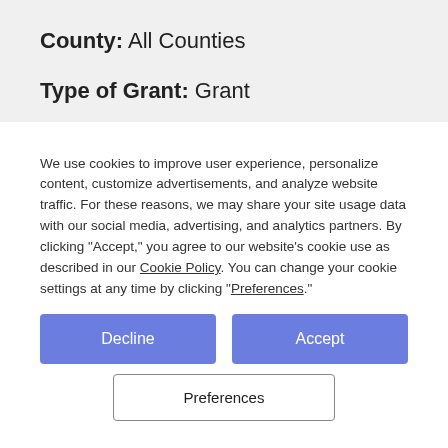County: All Counties
Type of Grant: Grant
We use cookies to improve user experience, personalize content, customize advertisements, and analyze website traffic. For these reasons, we may share your site usage data with our social media, advertising, and analytics partners. By clicking "Accept," you agree to our website's cookie use as described in our Cookie Policy. You can change your cookie settings at any time by clicking "Preferences."
Decline
Accept
Preferences
Details: